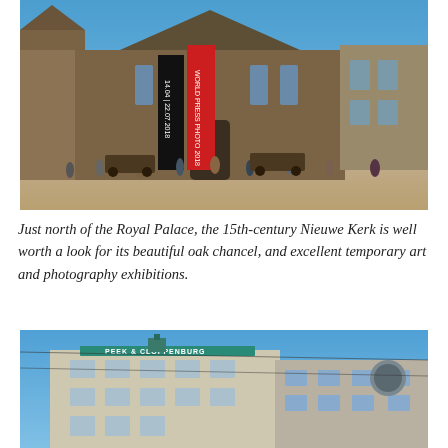[Figure (photo): Exterior of the Nieuwe Kerk (New Church) in Amsterdam, a large Gothic church with dark banners reading 'WORLD PRESS PHOTO 2018' and '14.04 | 22.07.2018'. A crowded plaza in front with horse-drawn carriages and tourists on a sunny day.]
Just north of the Royal Palace, the 15th-century Nieuwe Kerk is well worth a look for its beautiful oak chancel, and excellent temporary art and photography exhibitions.
[Figure (photo): Exterior of a multi-story Amsterdam building with a teal/green sign reading 'PEEK & CLOPPENBURG' under a blue sky with tram wires visible.]